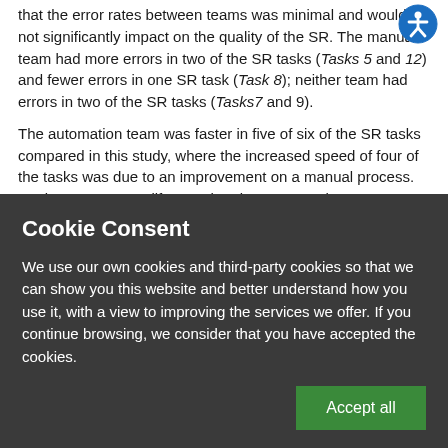that the error rates between teams was minimal and would not significantly impact on the quality of the SR. The manual team had more errors in two of the SR tasks (Tasks 5 and 12) and fewer errors in one SR task (Task 8); neither team had errors in two of the SR tasks (Tasks7 and 9).
The automation team was faster in five of six of the SR tasks compared in this study, where the increased speed of four of the tasks was due to an improvement on a manual process. For instance, to modify search strings, researchers may use the replace tool in Microsoft Word to manually change the database syntax, or
Cookie Consent
We use our own cookies and third-party cookies so that we can show you this website and better understand how you use it, with a view to improving the services we offer. If you continue browsing, we consider that you have accepted the cookies.